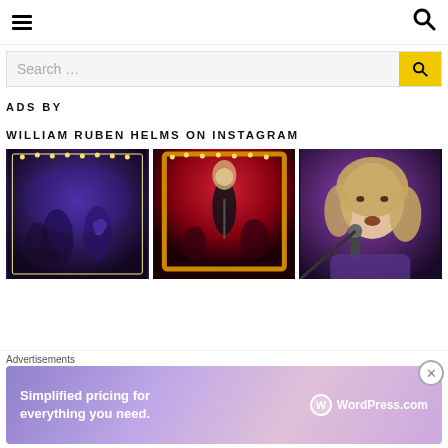Navigation header with hamburger menu and search icon
Search …
ADS BY
WILLIAM RUBEN HELMS ON INSTAGRAM
[Figure (photo): Band performing on stage with purple/blue stage lighting and string lights around a mirror]
[Figure (photo): Singer performing on stage with red background and string lights around a mirror frame]
[Figure (photo): Close-up of a person singing into a microphone with purple stage lighting]
Advertisements
[Figure (infographic): WordPress.com advertisement banner: Simplified pricing for everything you need. WordPress.com logo.]